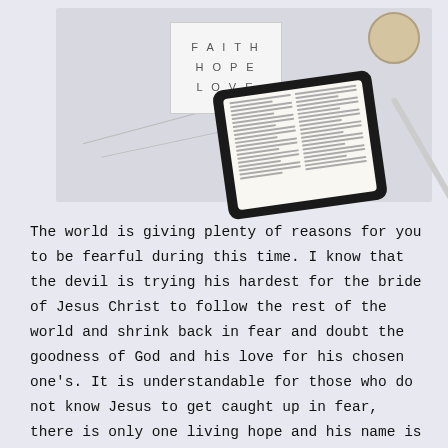[Figure (photo): Photo of an open Bible displayed on a tablet device, alongside a decorative card with 'FAITH HOPE LOVE' text, a cup of coffee, and a pencil, all on a light gray surface.]
The world is giving plenty of reasons for you to be fearful during this time. I know that the devil is trying his hardest for the bride of Jesus Christ to follow the rest of the world and shrink back in fear and doubt the goodness of God and his love for his chosen one's. It is understandable for those who do not know Jesus to get caught up in fear, there is only one living hope and his name is Jesus. I can remember a time before I made Jesus, Lord that I